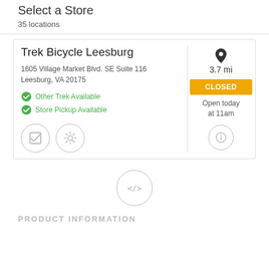Select a Store
35 locations
Trek Bicycle Leesburg
1605 Village Market Blvd. SE Suite 116
Leesburg, VA 20175
Other Trek Available
Store Pickup Available
3.7 mi
CLOSED
Open today at 11am
[Figure (infographic): Code embed button with </> symbol]
PRODUCT INFORMATION